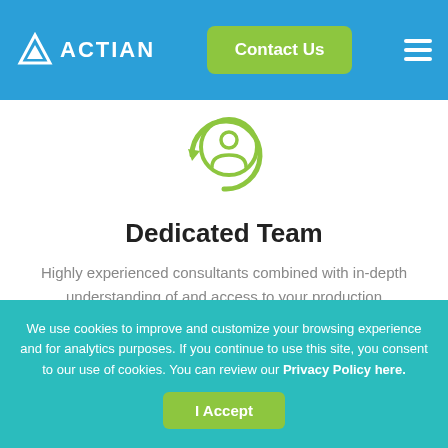ACTIAN | Contact Us
[Figure (illustration): Green circular arrow icon with a person/user silhouette in the center, representing a dedicated team concept]
Dedicated Team
Highly experienced consultants combined with in-depth understanding of and access to your production environment provide continuity of service and rapid response when time means money.
We use cookies to improve and customize your browsing experience and for analytics purposes. If you continue to use this site, you consent to our use of cookies. You can review our Privacy Policy here.